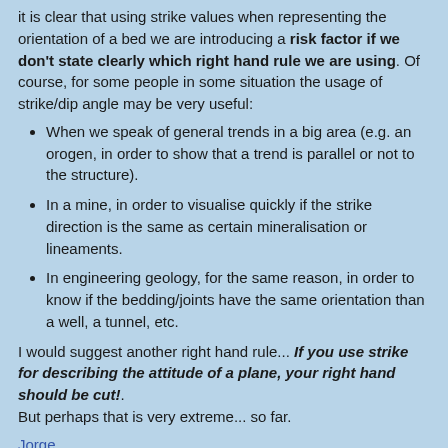it is clear that using strike values when representing the orientation of a bed we are introducing a risk factor if we don't state clearly which right hand rule we are using. Of course, for some people in some situation the usage of strike/dip angle may be very useful:
When we speak of general trends in a big area (e.g. an orogen, in order to show that a trend is parallel or not to the structure).
In a mine, in order to visualise quickly if the strike direction is the same as certain mineralisation or lineaments.
In engineering geology, for the same reason, in order to know if the bedding/joints have the same orientation than a well, a tunnel, etc.
I would suggest another right hand rule... If you use strike for describing the attitude of a plane, your right hand should be cut!. But perhaps that is very extreme... so far.
Jorge
Share